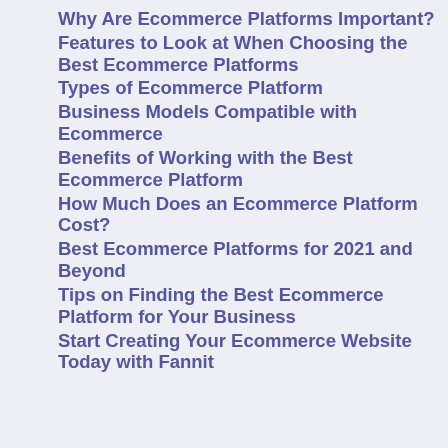Why Are Ecommerce Platforms Important?
Features to Look at When Choosing the Best Ecommerce Platforms
Types of Ecommerce Platform
Business Models Compatible with Ecommerce
Benefits of Working with the Best Ecommerce Platform
How Much Does an Ecommerce Platform Cost?
Best Ecommerce Platforms for 2021 and Beyond
Tips on Finding the Best Ecommerce Platform for Your Business
Start Creating Your Ecommerce Website Today with Fannit